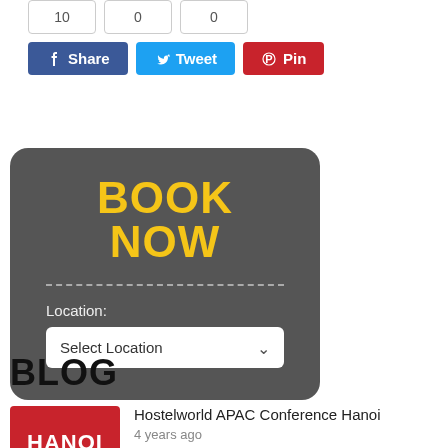[Figure (screenshot): Counter boxes showing numbers 10, 0, 0]
[Figure (screenshot): Social share buttons: Facebook Share, Twitter Tweet, Pinterest Pin]
[Figure (infographic): Dark grey rounded card with BOOK NOW title in yellow, dashed divider, Location label, and Select Location dropdown]
BLOG
[Figure (photo): Red image with HANOI text - Hostelworld APAC Conference Hanoi blog post thumbnail]
Hostelworld APAC Conference Hanoi
4 years ago
Every Hostel participating in Hostelworld